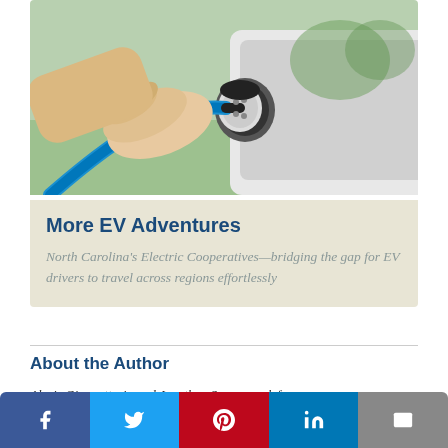[Figure (photo): A hand plugging a blue EV charging cable into the charging port of a white electric vehicle, outdoors with green background.]
More EV Adventures
North Carolina's Electric Cooperatives—bridging the gap for EV drivers to travel across regions effortlessly
About the Author
Alexis Giannattasio and Jonathan Susser work for Advance Energy, the Raleigh-based non-profit…
[Figure (infographic): Social media sharing buttons: Facebook, Twitter, Pinterest, LinkedIn, Email]